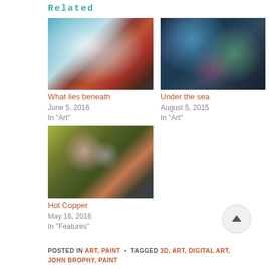Related
[Figure (photo): Fantasy painting of a woman with red hair leaning toward a ghost-like figure with blue glowing light]
What lies beneath
June 5, 2016
In "Art"
[Figure (photo): Dark underwater or alien scene with colorful sea creatures and surreal organisms on dark background]
Under the sea
August 5, 2015
In "Art"
[Figure (photo): Tattoo artwork showing a green Japanese-style jar or vessel with pink and white flower decorations]
Hot Copper
May 16, 2016
In "Features"
POSTED IN ART, PAINT • TAGGED 3D, ART, DIGITAL ART, JOHN BROPHY, PAINT